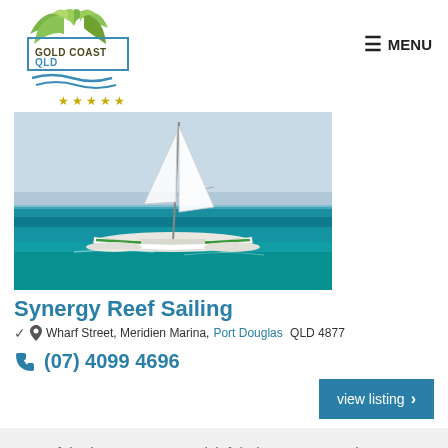[Figure (logo): Gold Coast QLD logo with green leaf/palm design and blue wave lines, with border rectangle]
☰ MENU
★★★★★
[Figure (photo): A white catamaran sailboat on turquoise-blue ocean water under a blue sky]
Synergy Reef Sailing
📍 Wharf Street, Meridien Marina, Port Douglas QLD 4877
📞 (07) 4099 4696
view listing ›
One of the best reasons to visit fabulous Port Douglas! Experience the Great Barrier Reef aboard Synergy's full